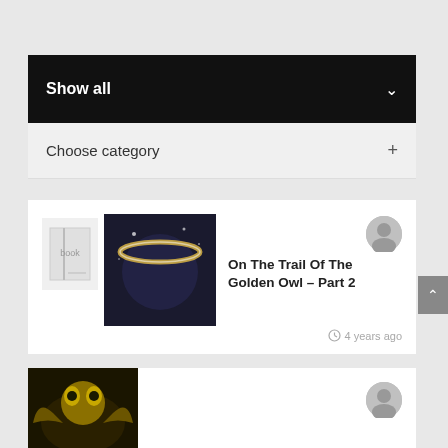Show all
Choose category
On The Trail Of The Golden Owl – Part 2
4 years ago